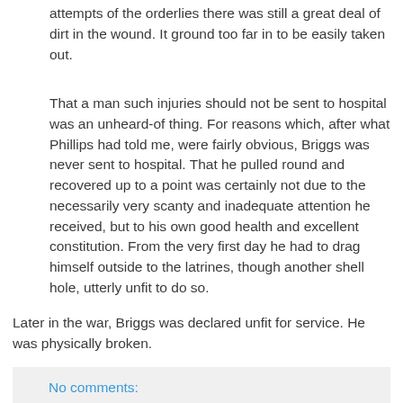attempts of the orderlies there was still a great deal of dirt in the wound. It ground too far in to be easily taken out.
That a man such injuries should not be sent to hospital was an unheard-of thing. For reasons which, after what Phillips had told me, were fairly obvious, Briggs was never sent to hospital. That he pulled round and recovered up to a point was certainly not due to the necessarily very scanty and inadequate attention he received, but to his own good health and excellent constitution. From the very first day he had to drag himself outside to the latrines, though another shell hole, utterly unfit to do so.
Later in the war, Briggs was declared unfit for service. He was physically broken.
No comments: